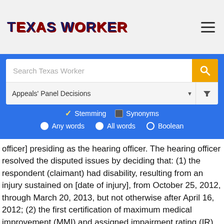TEXAS WORKER
[Figure (screenshot): Search interface with input box labeled 'Search Texas Worker', a yellow search button with magnifying glass icon, a dropdown for 'Appeals Panel Decisions', stemming/synonyms checkboxes, and Any words/All words/Boolean radio buttons]
officer] presiding as the hearing officer. The hearing officer resolved the disputed issues by deciding that: (1) the respondent (claimant) had disability, resulting from an injury sustained on [date of injury], from October 25, 2012, through March 20, 2013, but not otherwise after April 16, 2012; (2) the first certification of maximum medical improvement (MMI) and assigned impairment rating (IR) from [Dr. O] on September 20, 2012, did not become final under Section 408.123 and 28 TEX